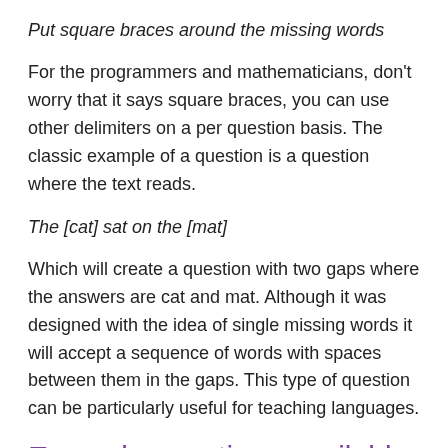Put square braces around the missing words
For the programmers and mathematicians, don't worry that it says square braces, you can use other delimiters on a per question basis. The classic example of a question is a question where the text reads.
The [cat] sat on the [mat]
Which will create a question with two gaps where the answers are cat and mat. Although it was designed with the idea of single missing words it will accept a sequence of words with spaces between them in the gaps. This type of question can be particularly useful for teaching languages.
Example questions available
Over 500 example questions are available for re-use and modification when creating your own questions. The